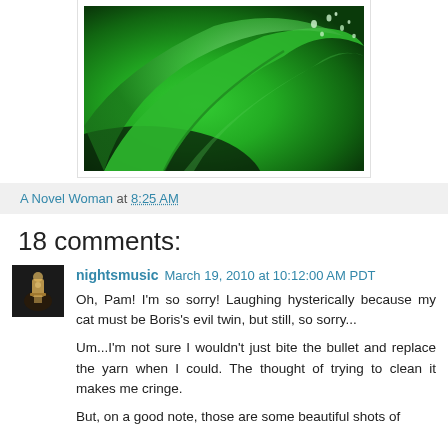[Figure (photo): Close-up photo of green leaves with water droplets, shown in a white-bordered frame]
A Novel Woman at 8:25 AM
18 comments:
nightsmusic March 19, 2010 at 10:12:00 AM PDT
Oh, Pam! I'm so sorry! Laughing hysterically because my cat must be Boris's evil twin, but still, so sorry...
Um...I'm not sure I wouldn't just bite the bullet and replace the yarn when I could. The thought of trying to clean it makes me cringe.
But, on a good note, those are some beautiful shots of